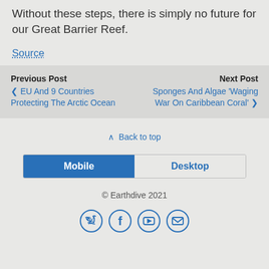Without these steps, there is simply no future for our Great Barrier Reef.
Source
Previous Post
‹ EU And 9 Countries Protecting The Arctic Ocean
Next Post
Sponges And Algae 'Waging War On Caribbean Coral' ›
⌃ Back to top
Mobile | Desktop
© Earthdive 2021